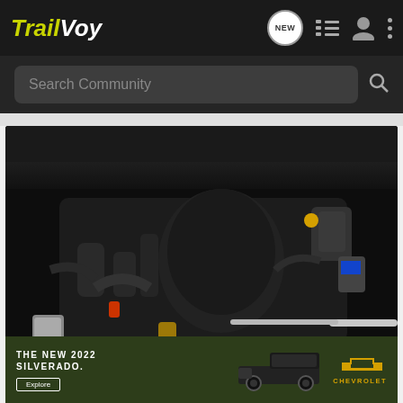TrailVoy — navigation bar with logo, NEW message icon, list icon, user icon, more icon
Search Community
[Figure (photo): Close-up photo of a vehicle engine bay showing various engine components including air intake, hoses, and fluid reservoirs, taken from above with the hood open]
[Figure (infographic): Chevrolet advertisement banner for The New 2022 Silverado with an Explore button, image of the Silverado truck, and Chevrolet logo on a green background]